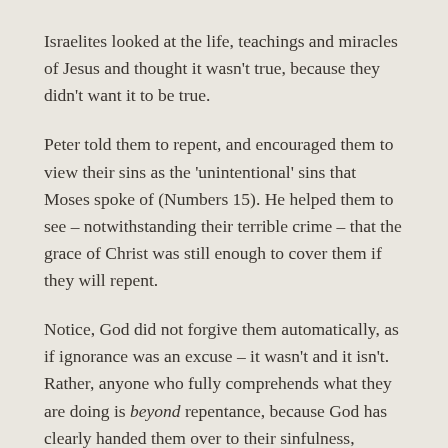Israelites looked at the life, teachings and miracles of Jesus and thought it wasn't true, because they didn't want it to be true.
Peter told them to repent, and encouraged them to view their sins as the 'unintentional' sins that Moses spoke of (Numbers 15). He helped them to see – notwithstanding their terrible crime – that the grace of Christ was still enough to cover them if they will repent.
Notice, God did not forgive them automatically, as if ignorance was an excuse – it wasn't and it isn't. Rather, anyone who fully comprehends what they are doing is beyond repentance, because God has clearly handed them over to their sinfulness, granting them no sense of conscience to pull them back from the brink. All those not in that position – i.e. almost everyone we meet – needs only to repent to see their sins forgiven. They are conscious of their evil – that is, not ignorant of their sin – but